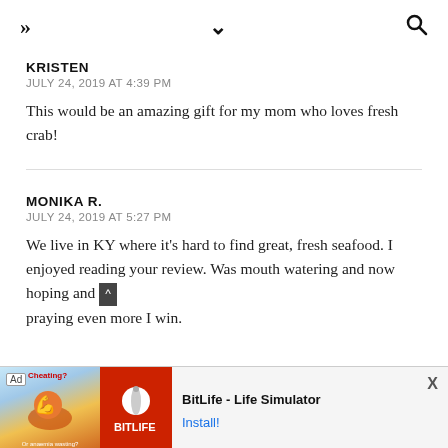» ˅ 🔍
KRISTEN
JULY 24, 2019 AT 4:39 PM
This would be an amazing gift for my mom who loves fresh crab!
MONIKA R.
JULY 24, 2019 AT 5:27 PM
We live in KY where it's hard to find great, fresh seafood. I enjoyed reading your review. Was mouth watering and now hoping and praying even more I win.
[Figure (screenshot): Ad banner for BitLife - Life Simulator app with install button]